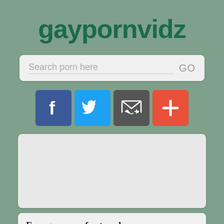gaypornvidz
Search porn here   GO
[Figure (infographic): Four social share buttons: Facebook (blue), Twitter (light blue), Email/subscribe (dark gray), Add/plus (red-orange)]
[Figure (other): Advertisement placeholder box (light gray rounded rectangle)]
Free gay pron for teen boys xxx underwear